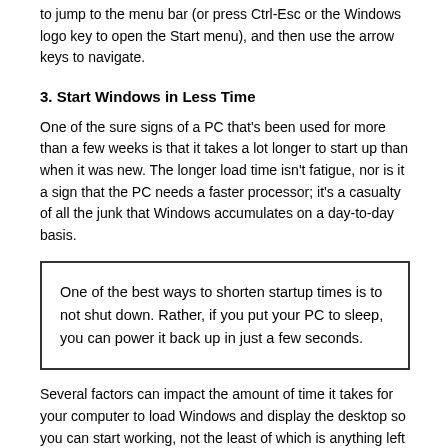to jump to the menu bar (or press Ctrl-Esc or the Windows logo key to open the Start menu), and then use the arrow keys to navigate.
3. Start Windows in Less Time
One of the sure signs of a PC that's been used for more than a few weeks is that it takes a lot longer to start up than when it was new. The longer load time isn't fatigue, nor is it a sign that the PC needs a faster processor; it's a casualty of all the junk that Windows accumulates on a day-to-day basis.
One of the best ways to shorten startup times is to not shut down. Rather, if you put your PC to sleep,  you can power it back up in just a few seconds.
Several factors can impact the amount of time it takes for your computer to load Windows and display the desktop so you can start working, not the least of which is anything left over from the previous version of Windows. If you installed Vista over, say, Windows XP, then you potentially have years of drivers, add-on services, startup programs, and other stuff clogging up your PC. An upgraded PC can take two to four times as long to start as one on which